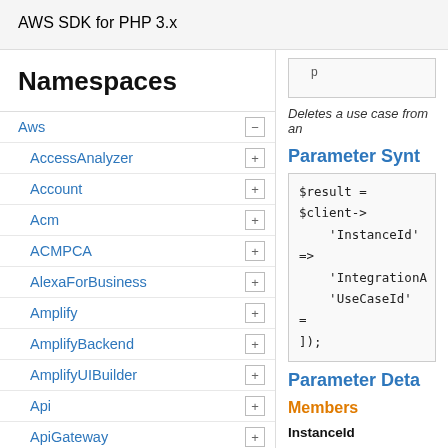AWS SDK for PHP 3.x
Namespaces
Aws
AccessAnalyzer
Account
Acm
ACMPCA
AlexaForBusiness
Amplify
AmplifyBackend
AmplifyUIBuilder
Api
ApiGateway
ApiGatewayManagementApi
Deletes a use case from an
Parameter Syntax
$result = $client->
    'InstanceId' =>
    'IntegrationA
    'UseCaseId' =
]);
Parameter Details
Members
InstanceId